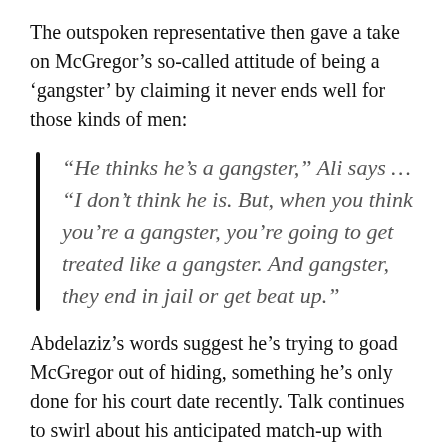The outspoken representative then gave a take on McGregor's so-called attitude of being a 'gangster' by claiming it never ends well for those kinds of men:
“He thinks he’s a gangster,” Ali says … “I don’t think he is. But, when you think you’re a gangster, you’re going to get treated like a gangster. And gangster, they end in jail or get beat up.”
Abdelaziz’s words suggest he’s trying to goad McGregor out of hiding, something he’s only done for his court date recently. Talk continues to swirl about his anticipated match-up with